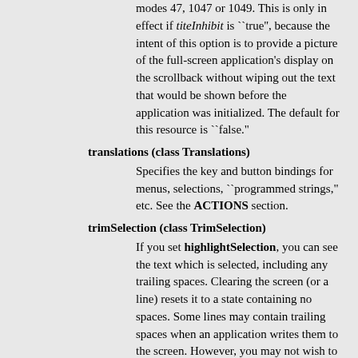modes 47, 1047 or 1049. This is only in effect if titeInhibit is ``true'', because the intent of this option is to provide a picture of the full-screen application's display on the scrollback without wiping out the text that would be shown before the application was initialized. The default for this resource is ``false."
translations (class Translations)
Specifies the key and button bindings for menus, selections, ``programmed strings," etc. See the ACTIONS section.
trimSelection (class TrimSelection)
If you set highlightSelection, you can see the text which is selected, including any trailing spaces. Clearing the screen (or a line) resets it to a state containing no spaces. Some lines may contain trailing spaces when an application writes them to the screen. However, you may not wish to paste lines with trailing spaces. If this resource is true, xterm will trim trailing spaces from text which is selected. It does not affect spaces which result in a wrapped line, nor will it trim the trailing newline from your selection. The default is ``false."
underLine (class UnderLine)
This specifies whether or not text with the underline attribute should be underlined. It may be desirable to